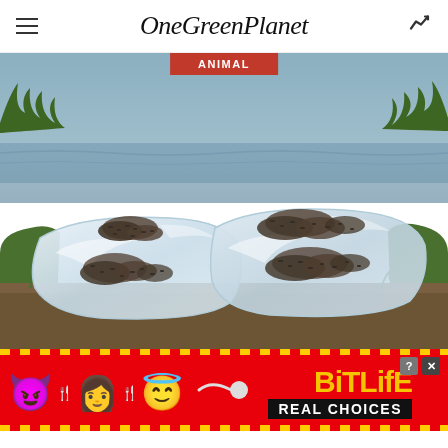OneGreenPlanet
[Figure (photo): Two large transparent ice blocks covered with clusters of ants, resting on dirt near water with grass in background]
ANIMAL
[Figure (infographic): BitLife app advertisement banner with red background, emoji characters (devil, person, angel), fork icons, sperm cell icon, BitLife logo in yellow, and 'REAL CHOICES' text in black]